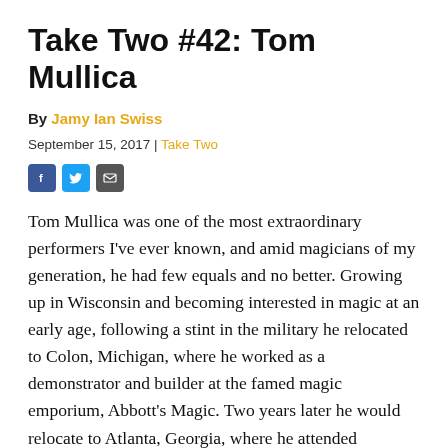Take Two #42: Tom Mullica
By Jamy Ian Swiss
September 15, 2017 | Take Two
[Figure (other): Social sharing icons: Facebook, Twitter, Email]
Tom Mullica was one of the most extraordinary performers I've ever known, and amid magicians of my generation, he had few equals and no better. Growing up in Wisconsin and becoming interested in magic at an early age, following a stint in the military he relocated to Colon, Michigan, where he worked as a demonstrator and builder at the famed magic emporium, Abbott's Magic. Two years later he would relocate to Atlanta, Georgia, where he attended bartending school and went to work as a bartender and